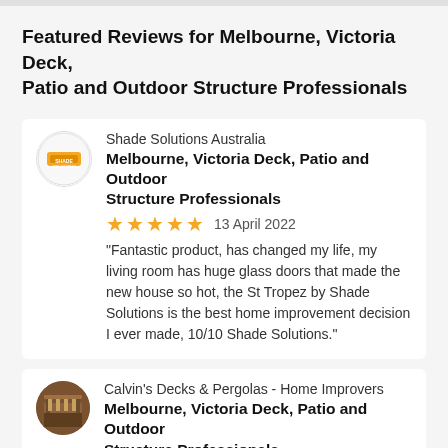Featured Reviews for Melbourne, Victoria Deck, Patio and Outdoor Structure Professionals
Shade Solutions Australia
Melbourne, Victoria Deck, Patio and Outdoor Structure Professionals
★★★★★  13 April 2022
“Fantastic product, has changed my life, my living room has huge glass doors that made the new house so hot, the St Tropez by Shade Solutions is the best home improvement decision I ever made, 10/10 Shade Solutions.”
Calvin's Decks & Pergolas - Home Improvers
Melbourne, Victoria Deck, Patio and Outdoor Structure Professionals
★★★★★  8 June 2018